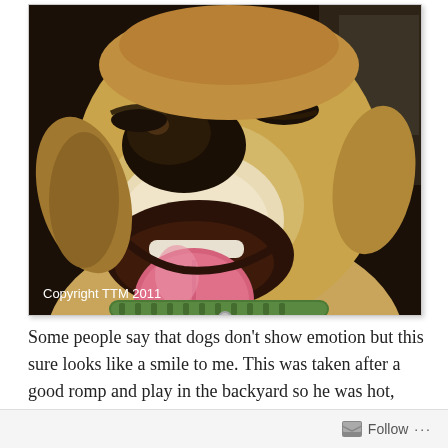[Figure (photo): Close-up photo of a yellow Labrador Retriever with mouth open, tongue out, appearing to smile, wearing a green collar. Photo taken after outdoor play. Copyright watermark reads 'Copyright TTM 2011' in white text at bottom left.]
Some people say that dogs don't show emotion but this sure looks like a smile to me. This was taken after a good romp and play in the backyard so he was hot, tired and very happy.
Follow ...